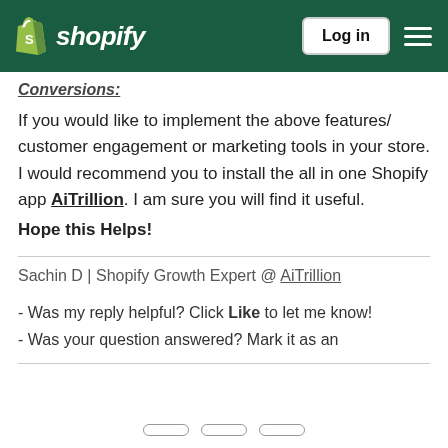shopify  Log in  ☰
If you would like to implement the above features/customer engagement or marketing tools in your store. I would recommend you to install the all in one Shopify app AiTrillion. I am sure you will find it useful.
Hope this Helps!
Sachin D | Shopify Growth Expert @ AiTrillion
- Was my reply helpful? Click Like to let me know!
- Was your question answered? Mark it as an